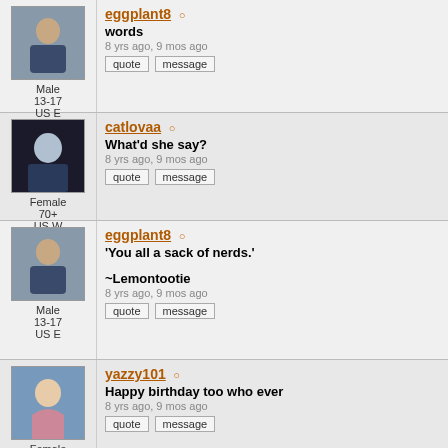eggplant8 [offline] | Male 13-17 US E | words | 8 yrs ago, 9 mos ago | quote | message
catlovaa [offline] | Female 70+ US W | What'd she say? | 8 yrs ago, 9 mos ago | quote | message
eggplant8 [offline] | Male 13-17 US E | 'You all a sack of nerds.' ~Lemontootie | 8 yrs ago, 9 mos ago | quote | message
yazzy101 [offline] | Female 18-29 US E | Happy birthday too who ever | 8 yrs ago, 9 mos ago | quote | message
darkemptines [offline]